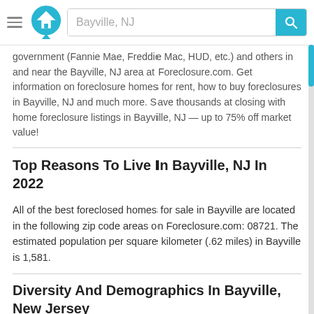Bayville, NJ
government (Fannie Mae, Freddie Mac, HUD, etc.) and others in and near the Bayville, NJ area at Foreclosure.com. Get information on foreclosure homes for rent, how to buy foreclosures in Bayville, NJ and much more. Save thousands at closing with home foreclosure listings in Bayville, NJ — up to 75% off market value!
Top Reasons To Live In Bayville, NJ In 2022
All of the best foreclosed homes for sale in Bayville are located in the following zip code areas on Foreclosure.com: 08721. The estimated population per square kilometer (.62 miles) in Bayville is 1,581.
Diversity And Demographics In Bayville, New Jersey
Where a home is located is almost just as important as the home itself. Whether you are a first-time homebuyer or are relocating to Bayville, it is essential to take a deep dive into your